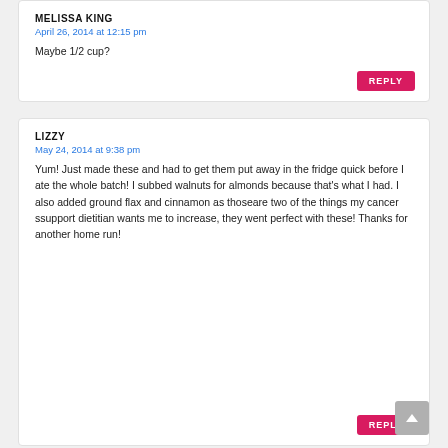MELISSA KING
April 26, 2014 at 12:15 pm
Maybe 1/2 cup?
LIZZY
May 24, 2014 at 9:38 pm
Yum! Just made these and had to get them put away in the fridge quick before I ate the whole batch! I subbed walnuts for almonds because that's what I had. I also added ground flax and cinnamon as thoseare two of the things my cancer ssupport dietitian wants me to increase, they went perfect with these! Thanks for another home run!